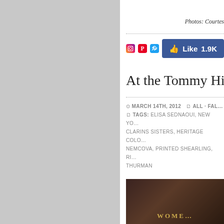[Figure (photo): Gray placeholder image panel on the left side of the page]
Photos: Courtes…
[Figure (infographic): Social media sharing icons: Instagram, Pinterest, Twitter, and Facebook Like button showing 1.9K likes]
At the Tommy Hilfig…
MARCH 14TH, 2012  ALL · FAL…
TAGS: ELISA SEDNAOUI, NEW YO… CLARINS SISTERS, HERITAGE COLO… NEMCOVA, PRINTED SHEARLING, RI… THURMAN
[Figure (photo): Bottom portion of a leather-textured image with gold text, likely a Tommy Hilfiger fashion show label or logo]